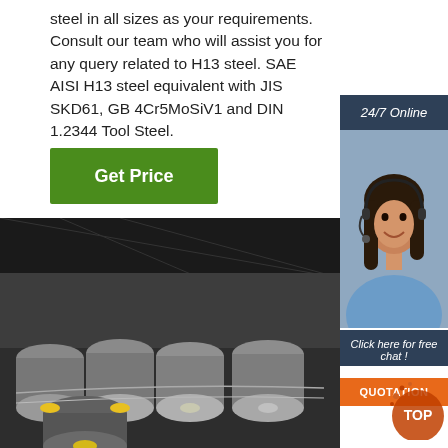steel in all sizes as your requirements. Consult our team who will assist you for any query related to H13 steel. SAE AISI H13 steel equivalent with JIS SKD61, GB 4Cr5MoSiV1 and DIN 1.2344 Tool Steel.
Get Price
24/7 Online
[Figure (photo): Customer service agent (woman with headset) for 24/7 online support]
Click here for free chat !
QUOTATION
[Figure (photo): Steel round bars/rods stacked in an industrial warehouse, some with yellow paint marks on end faces]